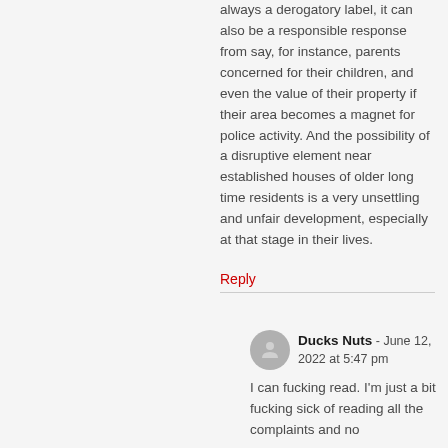always a derogatory label, it can also be a responsible response from say, for instance, parents concerned for their children, and even the value of their property if their area becomes a magnet for police activity. And the possibility of a disruptive element near established houses of older long time residents is a very unsettling and unfair development, especially at that stage in their lives.
Reply
Ducks Nuts - June 12, 2022 at 5:47 pm
I can fucking read. I'm just a bit fucking sick of reading all the complaints and no